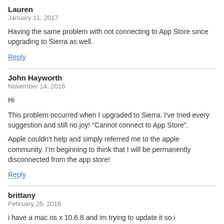Lauren
January 11, 2017
Having the same problem with not connecting to App Store since upgrading to Sierra as well.
Reply
John Hayworth
November 14, 2016
Hi
This problem occurred when I upgraded to Sierra. I've tried every suggestion and still no joy! “Cannot connect to App Store”.
Apple couldn’t help and simply referred me to the apple community. I’m beginning to think that I will be permanently disconnected from the app store!
Reply
brittany
February 26, 2016
i have a mac os x 10.6.8 and im trying to update it so i